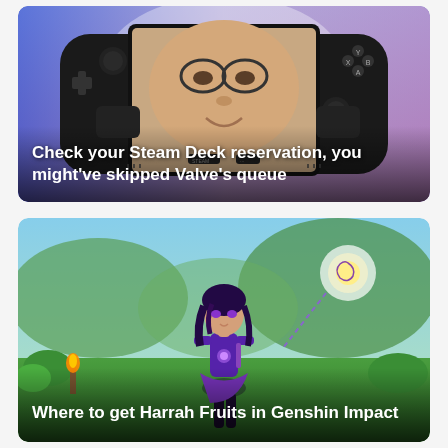[Figure (screenshot): Steam Deck handheld gaming device showing a person's face on its screen, with blue and pink/purple gradient background. Text overlay reads: Check your Steam Deck reservation, you might've skipped Valve's queue]
[Figure (screenshot): Genshin Impact game screenshot showing an anime-style female character in purple outfit standing in a lush green environment with glowing orb in background. Text overlay reads: Where to get Harrah Fruits in Genshin Impact]